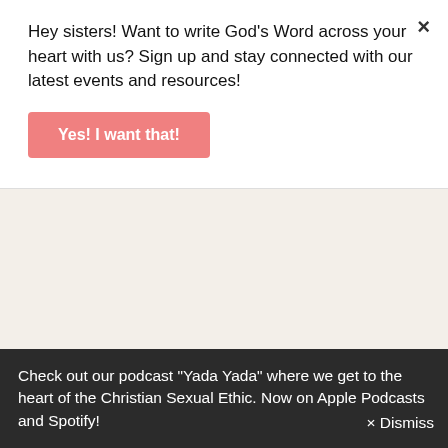Hey sisters! Want to write God's Word across your heart with us? Sign up and stay connected with our latest events and resources!
Yes! I want that!
Word to Live by
Worst Relationship Advice Ever
Body Image
Beauty
Book Reviews
Check out our podcast "Yada Yada" where we get to the heart of the Christian Sexual Ethic. Now on Apple Podcasts and Spotify!
× Dismiss